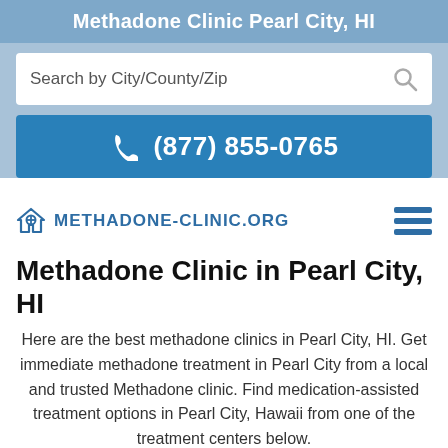Methadone Clinic Pearl City, HI
[Figure (screenshot): Search input box with placeholder text 'Search by City/County/Zip' and a search icon on the right]
(877) 855-0765
[Figure (logo): Methadone-Clinic.org logo with a house/cross icon in blue, and a hamburger menu icon on the right]
Methadone Clinic in Pearl City, HI
Here are the best methadone clinics in Pearl City, HI. Get immediate methadone treatment in Pearl City from a local and trusted Methadone clinic. Find medication-assisted treatment options in Pearl City, Hawaii from one of the treatment centers below.